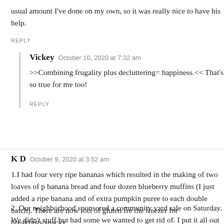usual amount I've done on my own, so it was really nice to have his help.
REPLY
Vickey  October 10, 2020 at 7:32 am
>>Combining frugality plus decluttering= happiness.<< That's so true for me too!
REPLY
K D  October 9, 2020 at 3:52 am
1.I had four very ripe bananas which resulted in the making of two loaves of banana bread and four dozen blueberry muffins (I just added a ripe banana and of extra pumpkin puree to each double batch). There are now lots of gluten free the freezer for breakfasts/snacks.
2. Our neighborhood sponsored a community yard sale on Saturday. We didn't stuff but had some we wanted to get rid of. I put it all out for free which allowed with the day and walk around and look at other sales. With no money in my po